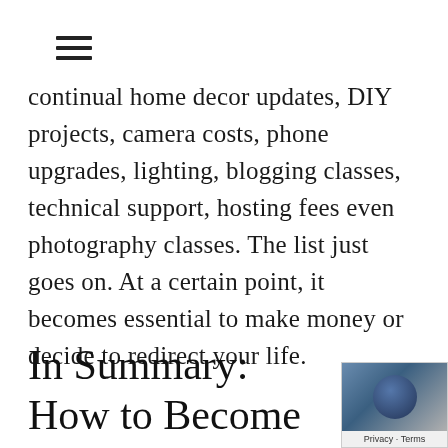≡
continual home decor updates, DIY projects, camera costs, phone upgrades, lighting, blogging classes, technical support, hosting fees even photography classes. The list just goes on. At a certain point, it becomes essential to make money or decide to redirect your life.
In Summary: How to Become a Social Media